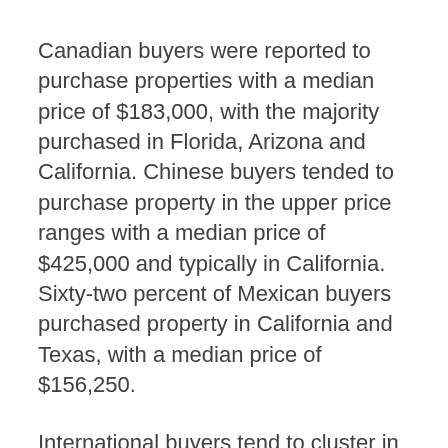Canadian buyers were reported to purchase properties with a median price of $183,000, with the majority purchased in Florida, Arizona and California. Chinese buyers tended to purchase property in the upper price ranges with a median price of $425,000 and typically in California. Sixty-two percent of Mexican buyers purchased property in California and Texas, with a median price of $156,250.
International buyers tend to cluster in specific locations based on countries of origin, as well as several other factors. “Many factors influence foreign buyers’ decisions on where to purchase in the U.S., but the most important are proximity to